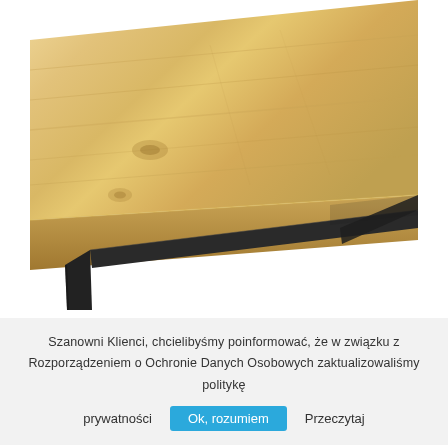[Figure (photo): Close-up photo of a wooden table top (light oak with natural grain) resting on black metal frame/legs, viewed from a low angle showing the table corner and the crossbar support structure underneath.]
Szanowni Klienci, chcielibyśmy poinformować, że w związku z Rozporządzeniem o Ochronie Danych Osobowych zaktualizowaliśmy politykę prywatności  Ok, rozumiem  Przeczytaj